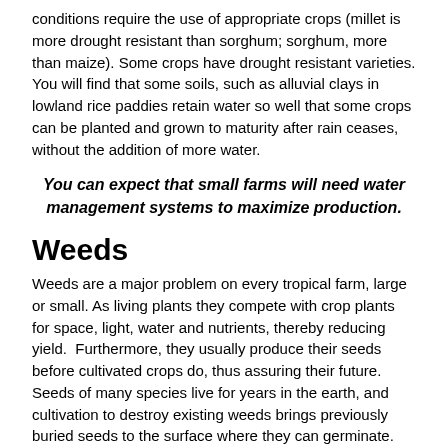conditions require the use of appropriate crops (millet is more drought resistant than sorghum; sorghum, more than maize). Some crops have drought resistant varieties.
You will find that some soils, such as alluvial clays in lowland rice paddies retain water so well that some crops can be planted and grown to maturity after rain ceases, without the addition of more water.
You can expect that small farms will need water management systems to maximize production.
Weeds
Weeds are a major problem on every tropical farm, large or small. As living plants they compete with crop plants for space, light, water and nutrients, thereby reducing yield.  Furthermore, they usually produce their seeds before cultivated crops do, thus assuring their future.  Seeds of many species live for years in the earth, and cultivation to destroy existing weeds brings previously buried seeds to the surface where they can germinate. Weed control is a major subject. A brief guide to weed control has been